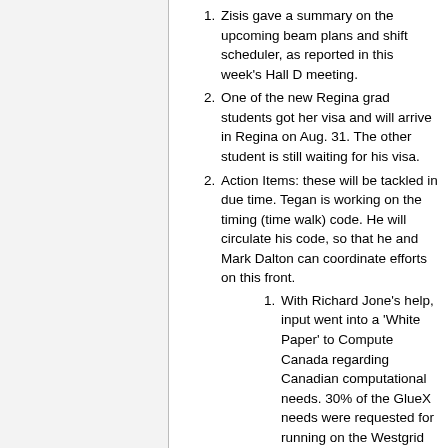Zisis gave a summary on the upcoming beam plans and shift scheduler, as reported in this week's Hall D meeting.
One of the new Regina grad students got her visa and will arrive in Regina on Aug. 31. The other student is still waiting for his visa.
Action Items: these will be tackled in due time. Tegan is working on the timing (time walk) code. He will circulate his code, so that he and Mark Dalton can coordinate efforts on this front.
With Richard Jone's help, input went into a 'White Paper' to Compute Canada regarding Canadian computational needs. 30% of the GlueX needs were requested for running on the Westgrid cluster and the request was well received and had an impact on their radar, due to the